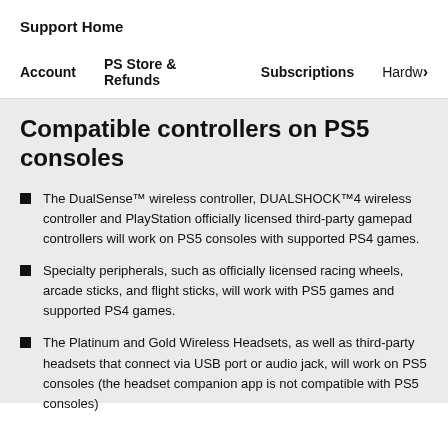Support Home
Account    PS Store & Refunds    Subscriptions    Hardw>
Compatible controllers on PS5 consoles
The DualSense™ wireless controller, DUALSHOCK™4 wireless controller and PlayStation officially licensed third-party gamepad controllers will work on PS5 consoles with supported PS4 games.
Specialty peripherals, such as officially licensed racing wheels, arcade sticks, and flight sticks, will work with PS5 games and supported PS4 games.
The Platinum and Gold Wireless Headsets, as well as third-party headsets that connect via USB port or audio jack, will work on PS5 consoles (the headset companion app is not compatible with PS5 consoles)